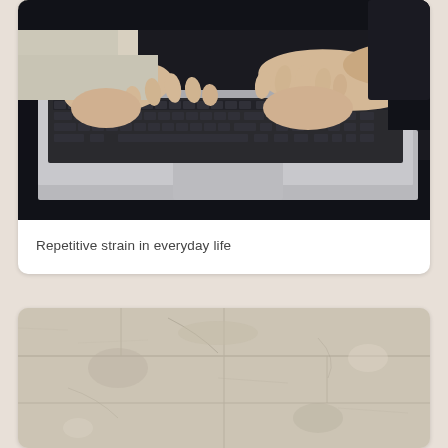[Figure (photo): Close-up photo of a person's hands typing on a MacBook laptop keyboard, wearing a light-colored sweater, dark background]
Repetitive strain in everyday life
[Figure (photo): Aged/worn concrete or stone wall texture with off-white and beige tones, cracks and marks visible]